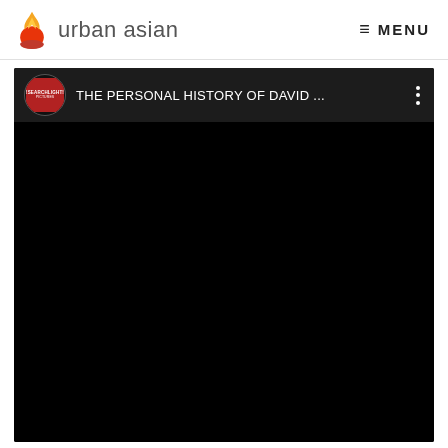urban asian   MENU
[Figure (screenshot): Embedded YouTube-style video player with black screen. The top bar shows a Searchlight Pictures logo (circular avatar, red background with white text '!SEARCHLIGHT!'), followed by the title 'THE PERSONAL HISTORY OF DAVID ...' in white text, and a vertical three-dot menu icon on the right. The main video area is completely black.]